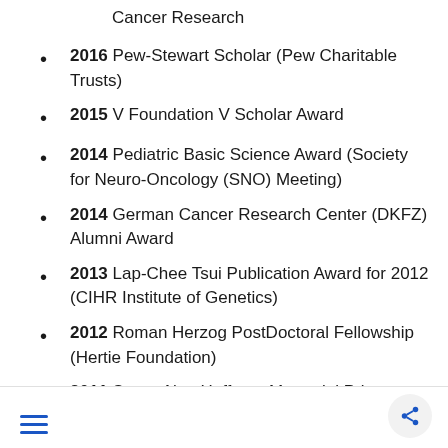Cancer Research
2016 Pew-Stewart Scholar (Pew Charitable Trusts)
2015 V Foundation V Scholar Award
2014 Pediatric Basic Science Award (Society for Neuro-Oncology (SNO) Meeting)
2014 German Cancer Research Center (DKFZ) Alumni Award
2013 Lap-Chee Tsui Publication Award for 2012 (CIHR Institute of Genetics)
2012 Roman Herzog PostDoctoral Fellowship (Hertie Foundation)
2011 Stuart Alan Hoffman Memorial Prize (University of Toronto)